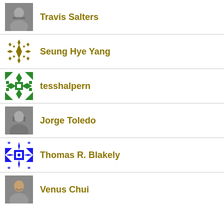Travis Salters
Seung Hye Yang
tesshalpern
Jorge Toledo
Thomas R. Blakely
Venus Chui